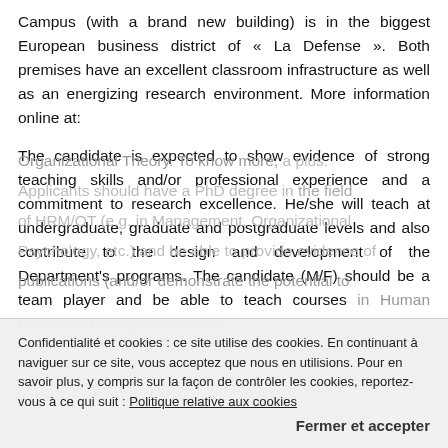Campus (with a brand new building) is in the biggest European business district of « La Defense ». Both premises have an excellent classroom infrastructure as well as an energizing research environment. More information online at:
The candidate is expected to show evidence of strong teaching skills and/or professional experience and a commitment to research excellence. He/she will teach at undergraduate, graduate and postgraduate levels and also contribute to the design and development of the Department's programs. The candidate (M/F) should be a team player and be able to teach courses in Human Resource Management and/or Organizational Theory. To know more, plus. Applicants should have a PhD degree in the field of HRM/OT (e.g. in Management, Organizational Psychology, etc.) and be able to provide evidence of publications (and/or demonstrate the potential to
Confidentialité et cookies : ce site utilise des cookies. En continuant à naviguer sur ce site, vous acceptez que nous en utilisions. Pour en savoir plus, y compris sur la façon de contrôler les cookies, reportez-vous à ce qui suit : Politique relative aux cookies
Fermer et accepter